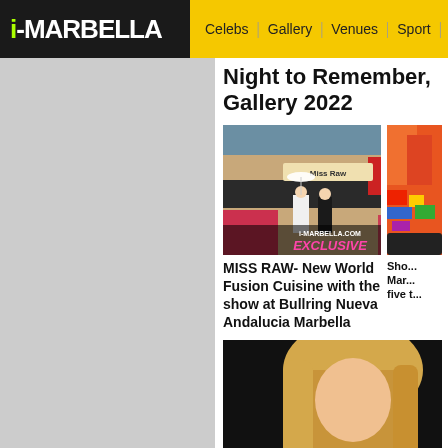i-MARBELLA | Celebs | Gallery | Venues | Sport | Restau...
Night to Remember, Gallery 2022
[Figure (photo): Miss Raw restaurant exterior with performers in white costumes, showing sign 'Miss Raw' and 'i-MARBELLA.COM EXCLUSIVE' text overlay]
MISS RAW- New World Fusion Cuisine with the show at Bullring Nueva Andalucia Marbella
[Figure (photo): Partial view of colorful scene, partially cropped on right edge]
Sho... Mar... five t...
[Figure (photo): Partial photo of blonde woman against dark background, cropped at bottom]